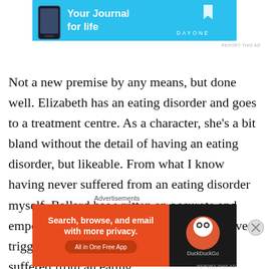[Figure (screenshot): Top advertisement banner for Day One journal app with blue background, phone image, and text 'Your Journal for life' with DAYONE logo]
Not a new premise by any means, but done well. Elizabeth has an eating disorder and goes to a treatment centre. As a character, she's a bit bland without the detail of having an eating disorder, but likeable. From what I know having never suffered from an eating disorder myself, Ballard has written an accurate and empowering story. As a warning, it may have triggers for anyone who does suffer or has suffered from an eating
Advertisements
[Figure (screenshot): Bottom advertisement for DuckDuckGo app — orange left panel with text 'Search, browse, and email with more privacy. All in One Free App' and dark right panel with DuckDuckGo logo]